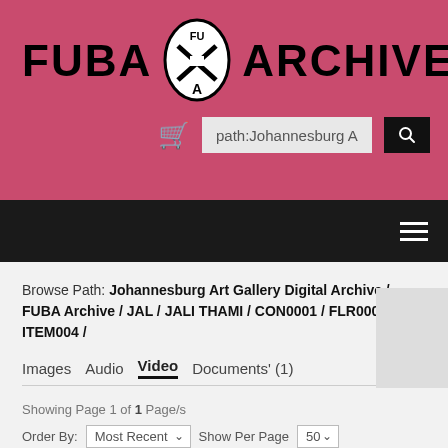[Figure (logo): FUBA Archive logo with oval emblem containing letters FUA in the header]
path:Johannesburg Ar
Browse Path: Johannesburg Art Gallery Digital Archive / FUBA Archive / JAL / JALI THAMI / CON0001 / FLR0001 / ITEM004 /
Images  Audio  Video  Documents' (1)
Showing Page 1 of 1 Page/s
Order By:  Most Recent  Show Per Page  50